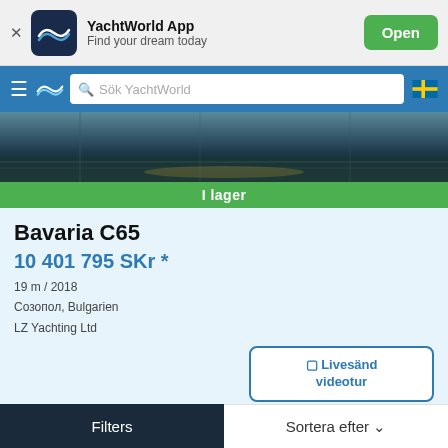[Figure (screenshot): YachtWorld App banner with logo icon, app name, tagline and Open button]
[Figure (screenshot): YachtWorld navigation bar with hamburger menu, logo, search bar 'Sök YachtWorld', and Swedish flag]
[Figure (photo): Boat in water, dark nautical scene]
I lager
Bavaria C65
10 401 795 SKr *
19 m / 2018
Созопол, Bulgarien
LZ Yachting Ltd
Livesänd videotur
Kontakta säljaren
Filters    Sortera efter